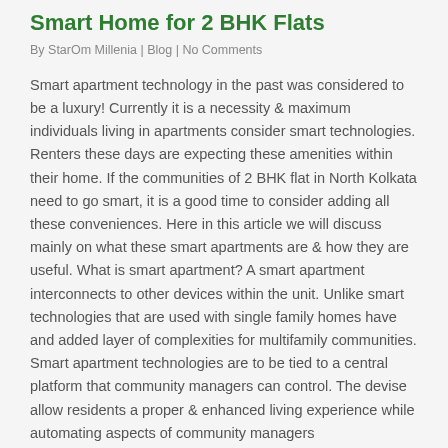Smart Home for 2 BHK Flats
By StarOm Millenia | Blog | No Comments
Smart apartment technology in the past was considered to be a luxury! Currently it is a necessity & maximum individuals living in apartments consider smart technologies. Renters these days are expecting these amenities within their home. If the communities of 2 BHK flat in North Kolkata need to go smart, it is a good time to consider adding all these conveniences. Here in this article we will discuss mainly on what these smart apartments are & how they are useful. What is smart apartment? A smart apartment interconnects to other devices within the unit. Unlike smart technologies that are used with single family homes have and added layer of complexities for multifamily communities. Smart apartment technologies are to be tied to a central platform that community managers can control. The devise allow residents a proper & enhanced living experience while automating aspects of community managers